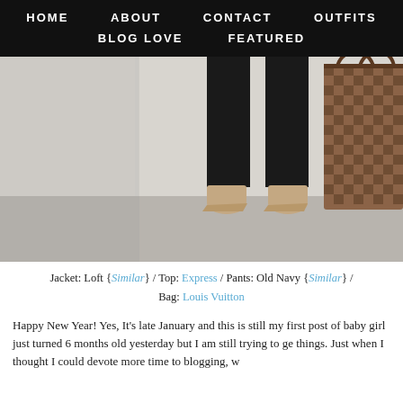HOME  ABOUT  CONTACT  OUTFITS  BLOG LOVE  FEATURED
[Figure (photo): Lower body photo showing black pants, nude pointed-toe heels, and a Louis Vuitton Neverfull damier ebene tote bag against a white wall background]
Jacket: Loft {Similar} / Top: Express / Pants: Old Navy {Similar} / Bag: Louis Vuitton
Happy New Year! Yes, It's late January and this is still my first post of baby girl just turned 6 months old yesterday but I am still trying to ge things. Just when I thought I could devote more time to blogging, w